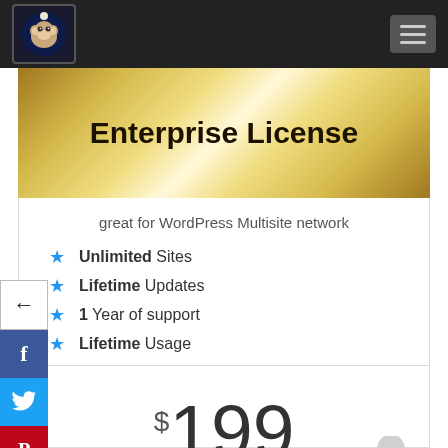[Figure (logo): Monkey logo with space/moon theme in dark square box, top navigation bar with hamburger menu icon]
Enterprise License
great for WordPress Multisite network
Unlimited Sites
Lifetime Updates
1 Year of support
Lifetime Usage
$199
one time payment
[Figure (illustration): Rocket ship emoji/illustration in bottom right corner]